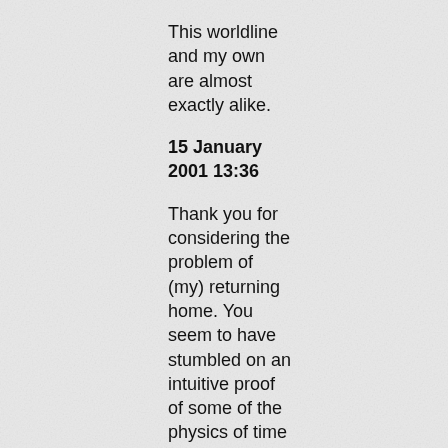This worldline and my own are almost exactly alike.
15 January 2001 13:36
Thank you for considering the problem of (my) returning home. You seem to have stumbled on an intuitive proof of some of the physics of time travel. You are correct, getting back to the worldline of origin is easier than picking an exact...